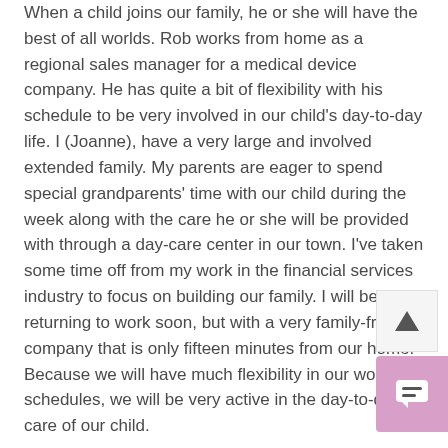When a child joins our family, he or she will have the best of all worlds. Rob works from home as a regional sales manager for a medical device company. He has quite a bit of flexibility with his schedule to be very involved in our child's day-to-day life. I (Joanne), have a very large and involved extended family. My parents are eager to spend special grandparents' time with our child during the week along with the care he or she will be provided with through a day-care center in our town. I've taken some time off from my work in the financial services industry to focus on building our family. I will be returning to work soon, but with a very family-friendly company that is only fifteen minutes from our home. Because we will have much flexibility in our work schedules, we will be very active in the day-to-day care of our child.
Joanne: Rob is my best friend and has been the source of compassion and encouragement as long as I've known him. He can be sensitive when called for and is not afraid to show his